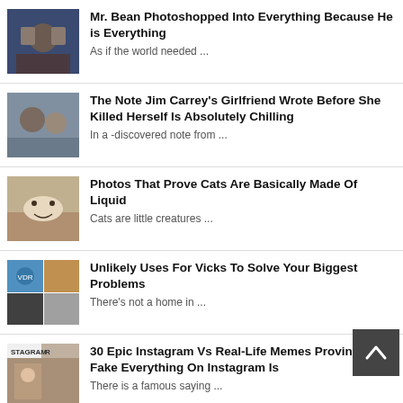[Figure (photo): Thumbnail photo of tattooed man]
Mr. Bean Photoshopped Into Everything Because He is Everything
As if the world needed ...
[Figure (photo): Thumbnail photo of couple man and woman]
The Note Jim Carrey's Girlfriend Wrote Before She Killed Herself Is Absolutely Chilling
In a -discovered note from ...
[Figure (photo): Thumbnail photo of cat]
Photos That Prove Cats Are Basically Made Of Liquid
Cats are little creatures ...
[Figure (photo): Thumbnail collage of Vicks product]
Unlikely Uses For Vicks To Solve Your Biggest Problems
There's not a home in ...
[Figure (photo): Thumbnail Instagram vs real life image]
30 Epic Instagram Vs Real-Life Memes Proving How Fake Everything On Instagram Is
There is a famous saying ...